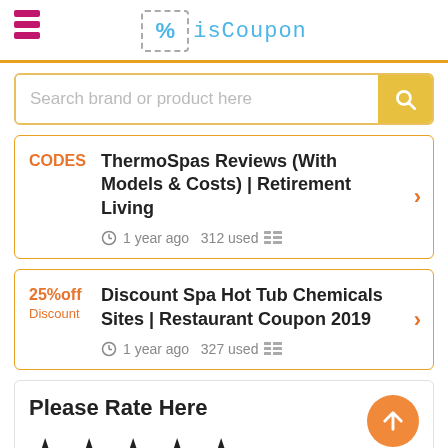isCoupon
Search brand or product here
CODES
ThermoSpas Reviews (With Models & Costs) | Retirement Living
1 year ago 312 used
25%off
Discount
Discount Spa Hot Tub Chemicals Sites | Restaurant Coupon 2019
1 year ago 327 used
Please Rate Here
★ ★ ★ ★ ★